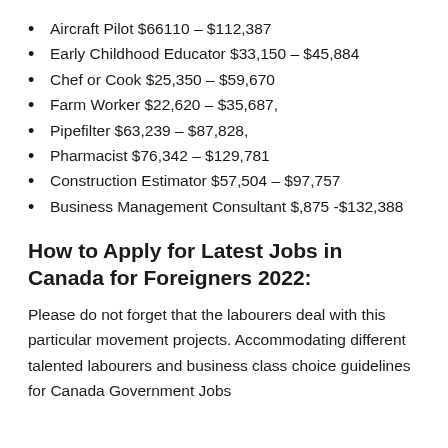Aircraft Pilot $66110 – $112,387
Early Childhood Educator $33,150 – $45,884
Chef or Cook $25,350 – $59,670
Farm Worker $22,620 – $35,687,
Pipefilter $63,239 – $87,828,
Pharmacist $76,342 – $129,781
Construction Estimator $57,504 – $97,757
Business Management Consultant $,875 -$132,388
How to Apply for Latest Jobs in Canada for Foreigners 2022:
Please do not forget that the labourers deal with this particular movement projects. Accommodating different talented labourers and business class choice guidelines for Canada Government Jobs